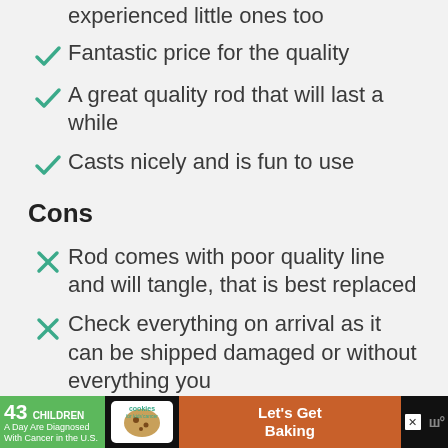experienced little ones too
Fantastic price for the quality
A great quality rod that will last a while
Casts nicely and is fun to use
Cons
Rod comes with poor quality line and will tangle, that is best replaced
Check everything on arrival as it can be shipped damaged or without everything you
[Figure (infographic): Advertisement banner: '43 CHILDREN A Day Are Diagnosed With Cancer in the U.S.' with cookies for kids' cancer logo and 'Let's Get Baking' text on brown background.]